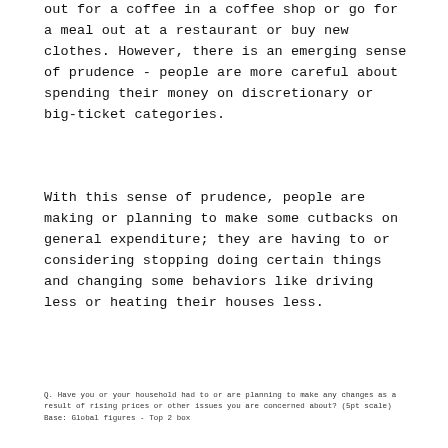out for a coffee in a coffee shop or go for a meal out at a restaurant or buy new clothes. However, there is an emerging sense of prudence - people are more careful about spending their money on discretionary or big-ticket categories.
With this sense of prudence, people are making or planning to make some cutbacks on general expenditure; they are having to or considering stopping doing certain things and changing some behaviors like driving less or heating their houses less.
Q. Have you or your household had to or are planning to make any changes as a result of rising prices or other issues you are concerned about? (5pt scale)
Base: Global figures - Top 2 box